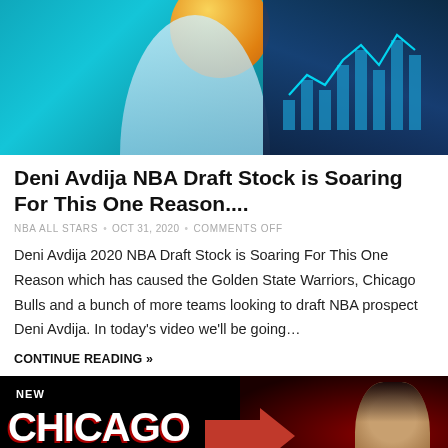[Figure (photo): Top banner image showing a basketball player with an orange basketball, teal/cyan background on the left, dark blue background with bar chart visualization on the right]
Deni Avdija NBA Draft Stock is Soaring For This One Reason....
NBA ALL STARS  •  OCT 31, 2020  •  COMMENTS OFF
Deni Avdija 2020 NBA Draft Stock is Soaring For This One Reason which has caused the Golden State Warriors, Chicago Bulls and a bunch of more teams looking to draft NBA prospect Deni Avdija. In today's video we'll be going…
CONTINUE READING »
[Figure (photo): Bottom banner image with black background and red glow showing 'NEW' label, large white and red text reading 'CHICAGO BULLS', a large red arrow pointing right, and a person's face on the right side]